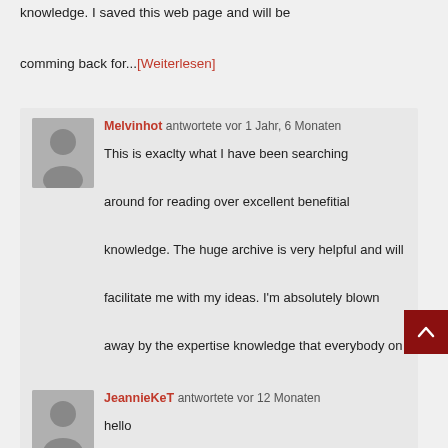knowledge. I saved this web page and will be comming back for...[Weiterlesen]
Melvinhot antwortete vor 1 Jahr, 6 Monaten
This is exaclty what I have been searching around for reading over excellent benefitial knowledge. The huge archive is very helpful and will facilitate me with my ideas. I'm absolutely blown away by the expertise knowledge that everybody on this website. It is obvious how well you and everyone percieved concepts. I saved this web blog and will....[Weiterlesen]
JeannieKeT antwortete vor 12 Monaten
hello